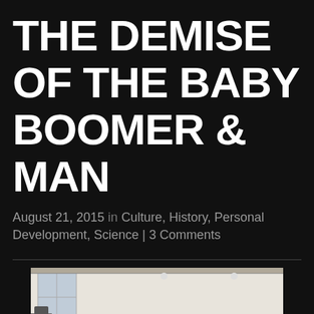THE DEMISE OF THE BABY BOOMER & MAN
August 21, 2015 in Culture, History, Personal Development, Science | 3 Comments
[Figure (photo): Black and white photograph of an early 20th century automobile factory assembly line with workers and vehicle chassis/frames being assembled in a large industrial building with tall windows.]